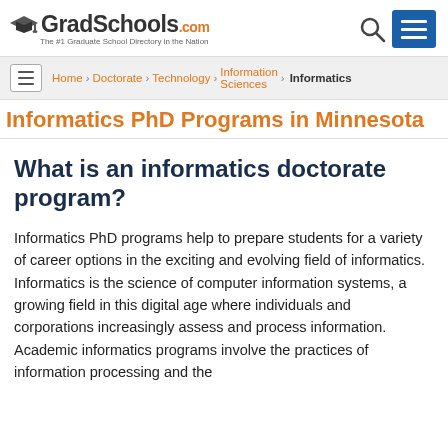[Figure (logo): GradSchools.com logo with graduation cap icon and tagline 'The #1 Graduate School Directory in the Nation']
GradSchools.com — The #1 Graduate School Directory in the Nation
Home > Doctorate > Technology > Information Sciences > Informatics
Informatics PhD Programs in Minnesota
What is an informatics doctorate program?
Informatics PhD programs help to prepare students for a variety of career options in the exciting and evolving field of informatics. Informatics is the science of computer information systems, a growing field in this digital age where individuals and corporations increasingly assess and process information. Academic informatics programs involve the practices of information processing and the